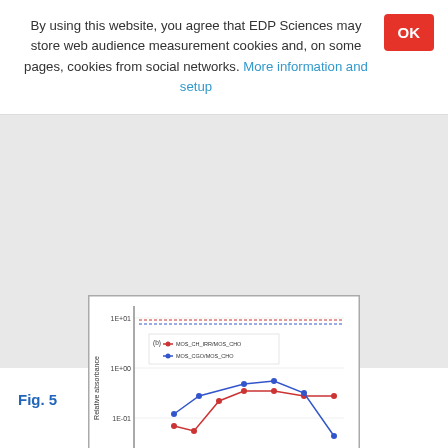By using this website, you agree that EDP Sciences may store web audience measurement cookies and, on some pages, cookies from social networks. More information and setup
[Figure (line-chart): Line chart showing relative absorbance vs fluence for two series (red and blue data points), with values on logarithmic scale from ~1E-01 to ~1E+01, x-axis ranging from ~5.0E+13 to 5.0E+14]
Fig. 5